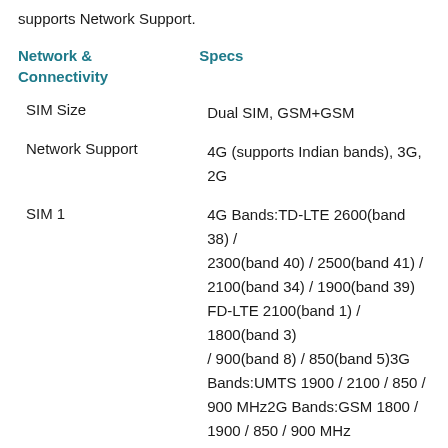supports Network Support.
| Network & Connectivity | Specs |
| --- | --- |
| SIM Size | Dual SIM, GSM+GSM |
| Network Support | 4G (supports Indian bands), 3G, 2G |
| SIM 1 | 4G Bands:TD-LTE 2600(band 38) / 2300(band 40) / 2500(band 41) / 2100(band 34) / 1900(band 39) FD-LTE 2100(band 1) / 1800(band 3) / 900(band 8) / 850(band 5)3G Bands:UMTS 1900 / 2100 / 850 / 900 MHz2G Bands:GSM 1800 / 1900 / 850 / 900 MHz |